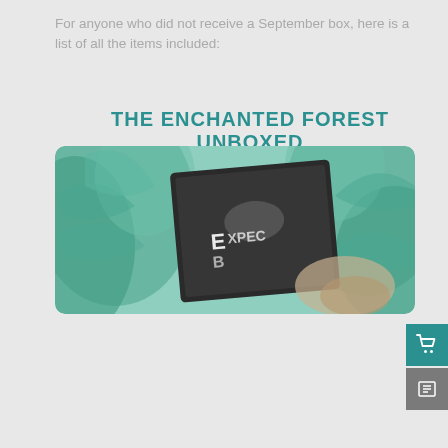For anyone who did not receive a September box, here is a list of all the items included:
THE ENCHANTED FOREST UNBOXED
[Figure (photo): A close-up photo of a subscription box with text 'BEXPEC...' visible on a dark box, surrounded by teal/green foliage and burlap fabric.]